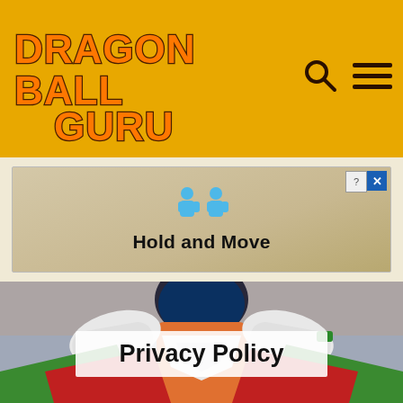Dragon Ball Guru
[Figure (screenshot): Advertisement banner showing two blue human figures with text 'Hold and Move']
[Figure (illustration): Dragon Ball anime character viewed from above, wearing orange and white outfit with green cape/collar, hands raised to head, against a muted background]
Privacy Policy